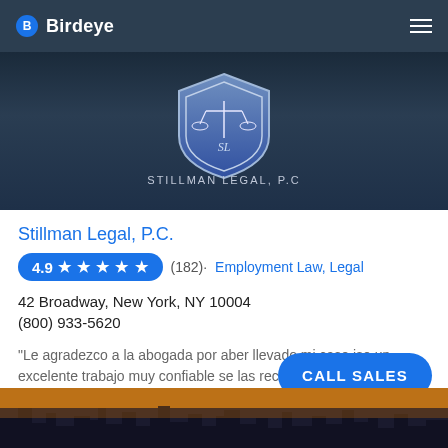Birdeye
[Figure (logo): Stillman Legal P.C. logo with scales of justice shield emblem and text STILLMAN LEGAL, P.C.]
Stillman Legal, P.C.
4.9 ★★★★★ (182) · Employment Law, Legal
42 Broadway, New York, NY 10004
(800) 933-5620
"Le agradezco a la abogada por aber llevado mi caso iso un excelente trabajo muy confiable se las recomiendo"....
[Figure (photo): City skyline at dusk/sunset with warm orange and golden tones over urban buildings]